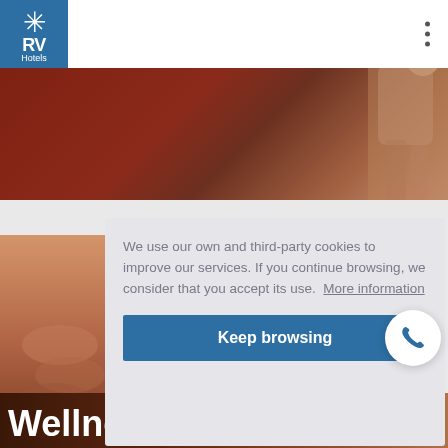RV Hotels
Valentine's Day
[Figure (photo): Couple embracing on a red/brown background hero banner]
[Figure (photo): Spa or wellness close-up image on left side]
We use our own and third-party cookies to improve our services. If you continue browsing, we consider that you accept its use.  More information
Keep browsing
Wellness